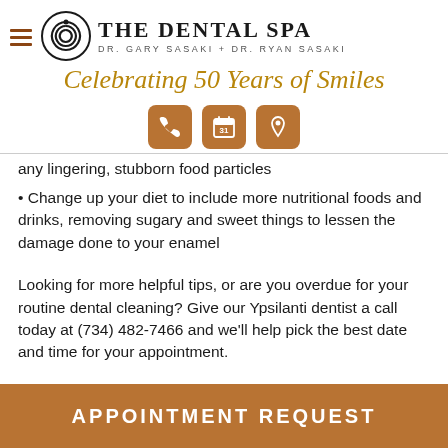The Dental Spa — Dr. Gary Sasaki + Dr. Ryan Sasaki
Celebrating 50 Years of Smiles
[Figure (infographic): Three icon buttons: phone, calendar (31), and location pin, each on a brown rounded square background]
any lingering, stubborn food particles
Change up your diet to include more nutritional foods and drinks, removing sugary and sweet things to lessen the damage done to your enamel
Looking for more helpful tips, or are you overdue for your routine dental cleaning? Give our Ypsilanti dentist a call today at (734) 482-7466 and we'll help pick the best date and time for your appointment.
APPOINTMENT REQUEST